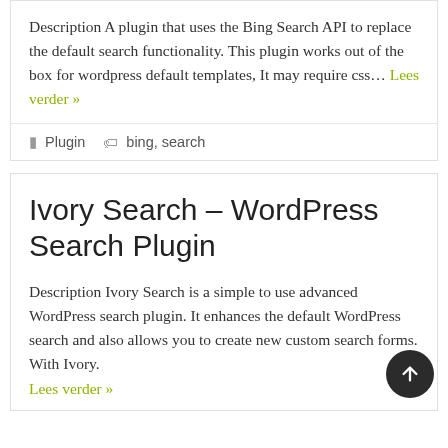Description A plugin that uses the Bing Search API to replace the default search functionality. This plugin works out of the box for wordpress default templates, It may require css… Lees verder »
Plugin   bing, search
Ivory Search – WordPress Search Plugin
Description Ivory Search is a simple to use advanced WordPress search plugin. It enhances the default WordPress search and also allows you to create new custom search forms. With Ivory. Lees verder »